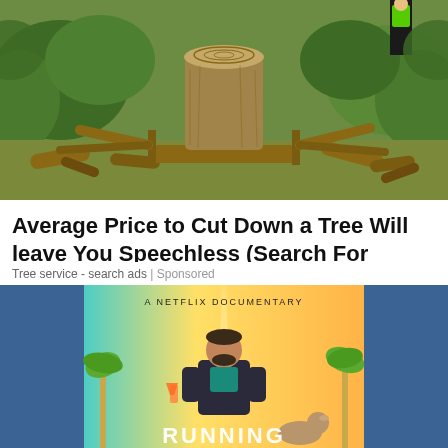[Figure (photo): Outdoor photo showing a large tree stump with cut branches around it in a garden setting, with a person in a high-visibility jacket visible in background.]
Average Price to Cut Down a Tree Will leave You Speechless (Search For Rates)
Tree service - search ads | Sponsored
[Figure (photo): Netflix documentary movie poster for 'Running' showing a man in a suit sitting in a chair with tropical palm trees and colorful background. Text reads 'A NETFLIX DOCUMENTARY' and 'RUNNING' is partially visible at bottom.]